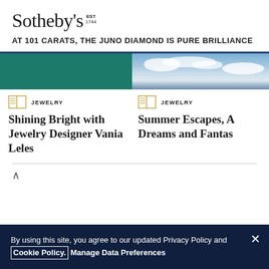Sotheby's EST 1744
AT 101 CARATS, THE JUNO DIAMOND IS PURE BRILLIANCE
[Figure (photo): Green/teal background card image for Shining Bright with Jewelry Designer Vania Leles article]
JEWELRY — Shining Bright with Jewelry Designer Vania Leles
[Figure (photo): Sky/clouds background card image for Summer Escapes, A Dreams and Fantas... article]
JEWELRY — Summer Escapes, A Dreams and Fantas...
By using this site, you agree to our updated Privacy Policy and Cookie Policy. Manage Data Preferences